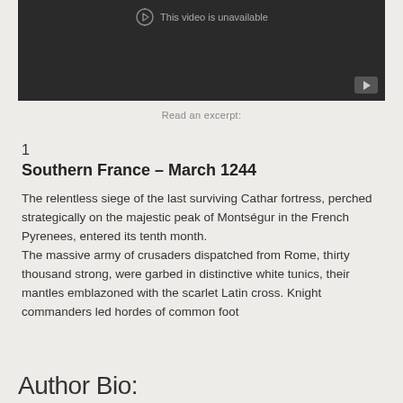[Figure (screenshot): Video player showing 'This video is unavailable' message with a play button in the bottom right corner]
Read an excerpt:
1
Southern France – March 1244
The relentless siege of the last surviving Cathar fortress, perched strategically on the majestic peak of Montségur in the French Pyrenees, entered its tenth month. The massive army of crusaders dispatched from Rome, thirty thousand strong, were garbed in distinctive white tunics, their mantles emblazoned with the scarlet Latin cross. Knight commanders led hordes of common foot
Author Bio: